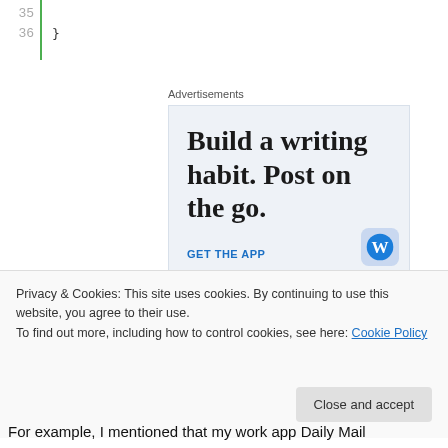36  }
Advertisements
[Figure (illustration): WordPress advertisement banner with text 'Build a writing habit. Post on the go.' and a 'GET THE APP' call to action with WordPress logo]
Privacy & Cookies: This site uses cookies. By continuing to use this website, you agree to their use.
To find out more, including how to control cookies, see here: Cookie Policy
For example, I mentioned that my work app Daily Mail